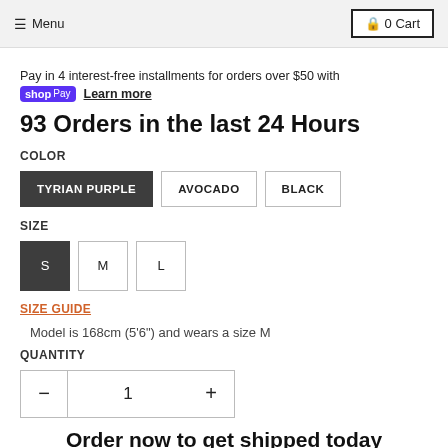Menu  0 Cart
Pay in 4 interest-free installments for orders over $50 with shop Pay  Learn more
93 Orders in the last 24 Hours
COLOR
TYRIAN PURPLE  AVOCADO  BLACK
SIZE
S  M  L
SIZE GUIDE
Model is 168cm (5'6") and wears a size M
QUANTITY
- 1 +
Order now to get shipped today